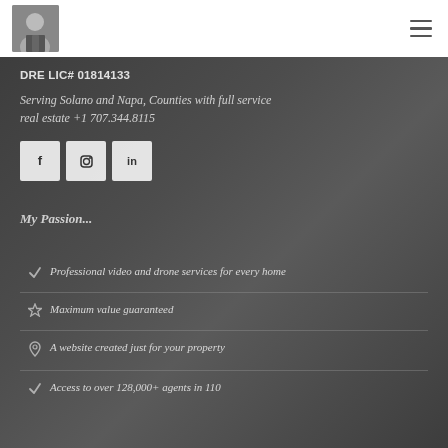[Figure (photo): Agent headshot photo in top left corner of white navigation bar]
DRE LIC# 01814133
Serving Solano and Napa, Counties with full service real estate +1 707.344.8115
[Figure (infographic): Three social media icon boxes: Facebook (f), Instagram (camera icon), LinkedIn (in)]
My Passion...
Professional video and drone services for every home
Maximum value guaranteed
A website created just for your property
Access to over 128,000+ agents in 110